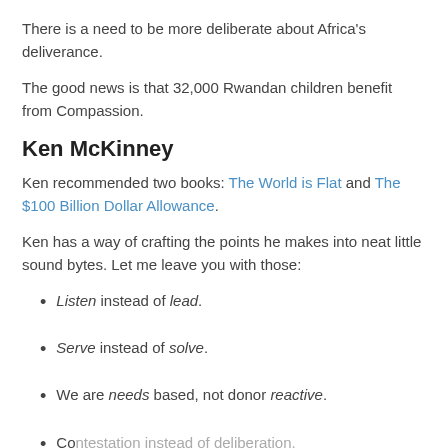There is a need to be more deliberate about Africa's deliverance.
The good news is that 32,000 Rwandan children benefit from Compassion.
Ken McKinney
Ken recommended two books: The World is Flat and The $100 Billion Dollar Allowance.
Ken has a way of crafting the points he makes into neat little sound bytes. Let me leave you with those:
Listen instead of lead.
Serve instead of solve.
We are needs based, not donor reactive.
Contestation instead of deliberation.